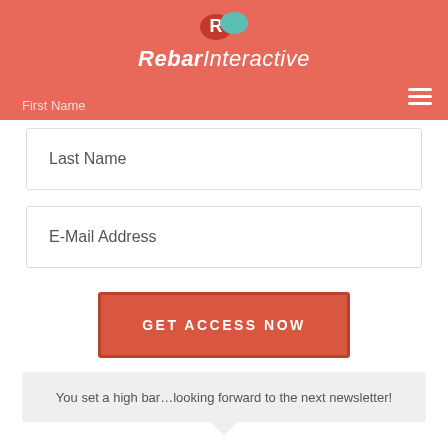[Figure (logo): RebarInteractive logo with red and teal pill icon and white italic text on salmon/coral header bar]
First Name
Last Name
E-Mail Address
GET ACCESS NOW
You set a high bar...looking forward to the next newsletter!